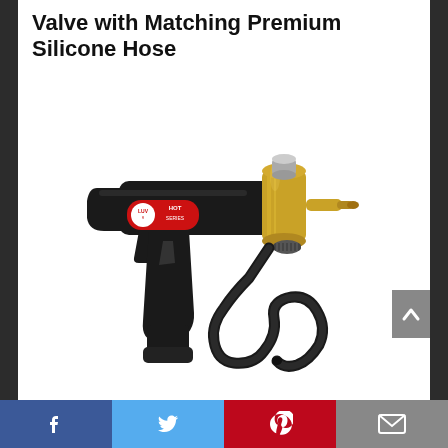Valve with Matching Premium Silicone Hose
[Figure (photo): A black pistol-grip valve/gun tool with a brass needle valve head and a small gray knob on top, with a black silicone hose coiled at the base. The body has a red LUV HOT SERIES label sticker.]